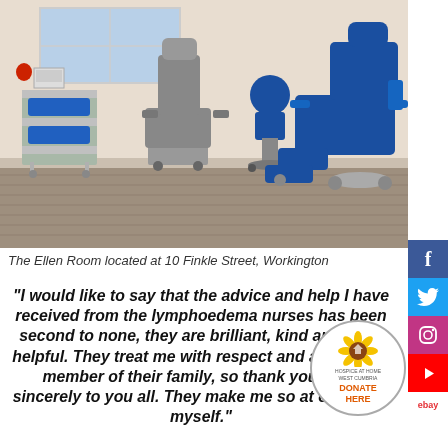[Figure (photo): The Ellen Room at 10 Finkle Street, Workington — a medical treatment room with a blue reclining patient chair, a grey examination chair, a blue office chair on wheels, and a stainless steel medical trolley with blue cushions. Wooden floor, beige walls, window in background.]
The Ellen Room located at 10 Finkle Street, Workington
“I would like to say that the advice and help I have received from the lymphoedema nurses has been second to none, they are brilliant, kind and most helpful. They treat me with respect and as if I am a member of their family, so thank you most sincerely to you all. They make me so at ease with myself.”